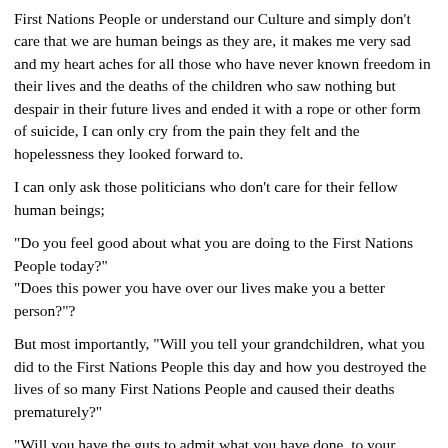First Nations People or understand our Culture and simply don't care that we are human beings as they are, it makes me very sad and my heart aches for all those who have never known freedom in their lives and the deaths of the children who saw nothing but despair in their future lives and ended it with a rope or other form of suicide, I can only cry from the pain they felt and the hopelessness they looked forward to.
I can only ask those politicians who don't care for their fellow human beings;
"Do you feel good about what you are doing to the First Nations People today?"
"Does this power you have over our lives make you a better person?"?
But most importantly, "Will you tell your grandchildren, what you did to the First Nations People this day and how you destroyed the lives of so many First Nations People and caused their deaths prematurely?"
"Will you have the guts to admit what you have done, to your granchildren, or will you hide this truth from them when they ask you, that question of curiosity".
"Who were the First Australians in this Land?"